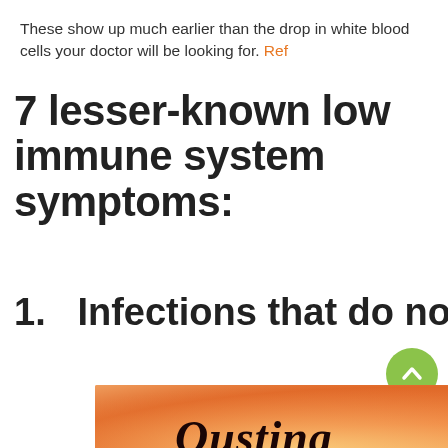These show up much earlier than the drop in white blood cells your doctor will be looking for. Ref
7 lesser-known low immune system symptoms:
1.   Infections that do not go away
[Figure (illustration): Book cover showing 'Ousting' in italic script with red stylized letters below, on a warm orange/peach gradient background]
The body is